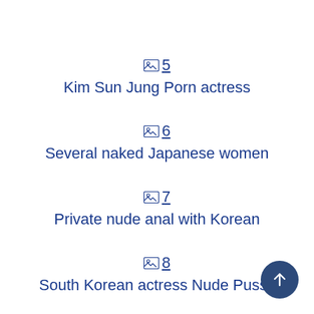🖼 5
Kim Sun Jung Porn actress
🖼 6
Several naked Japanese women
🖼 7
Private nude anal with Korean
🖼 8
South Korean actress Nude Pussy